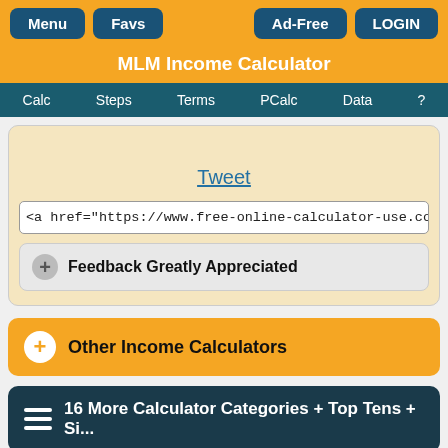Menu | Favs | Ad-Free | LOGIN
MLM Income Calculator
Calc | Steps | Terms | PCalc | Data | ?
Tweet
<a href="https://www.free-online-calculator-use.com/mlm-i...
Feedback Greatly Appreciated
Other Income Calculators
16 More Calculator Categories + Top Tens + Si...